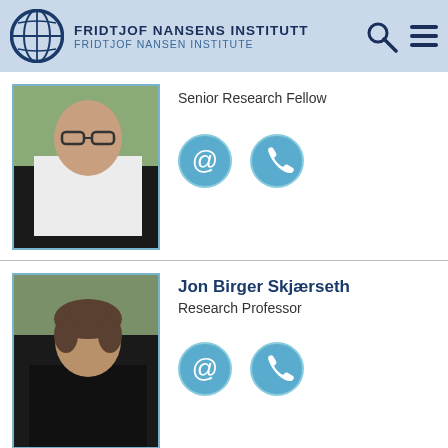FRIDTJOF NANSENS INSTITUTT / FRIDTJOF NANSEN INSTITUTE
Senior Research Fellow
[Figure (photo): Portrait photo of a man with glasses, in a white shirt and dark jacket, outdoors]
Jon Birger Skjærseth
Research Professor
[Figure (photo): Portrait photo of a man with brown hair, wearing a black top, outdoors with trees in background]